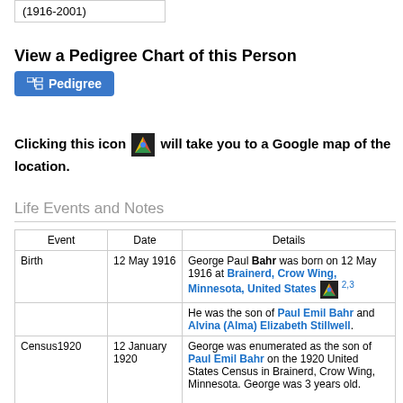(1916-2001)
View a Pedigree Chart of this Person
Pedigree
Clicking this icon [Google Maps icon] will take you to a Google map of the location.
Life Events and Notes
| Event | Date | Details |
| --- | --- | --- |
| Birth | 12 May 1916 | George Paul Bahr was born on 12 May 1916 at Brainerd, Crow Wing, Minnesota, United States [map icon] 2,3 |
|  |  | He was the son of Paul Emil Bahr and Alvina (Alma) Elizabeth Stillwell. |
| Census1920 | 12 January 1920 | George was enumerated as the son of Paul Emil Bahr on the 1920 United States Census in Brainerd, Crow Wing, Minnesota. George was 3 years old.

Also residing in the same household were Alvina (Alma) Elizabeth Stillwell, Evelyn |